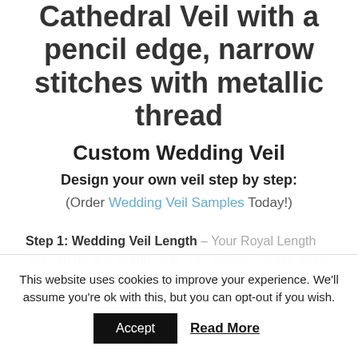Cathedral Veil with a pencil edge, narrow stitches with metallic thread
Custom Wedding Veil
Design your own veil step by step:
(Order Wedding Veil Samples Today!)
Step 1: Wedding Veil Length – Your Royal Length Veil can be any length up to 180 inches. Please let us know the exact length for each tier
This website uses cookies to improve your experience. We'll assume you're ok with this, but you can opt-out if you wish.
Accept
Read More